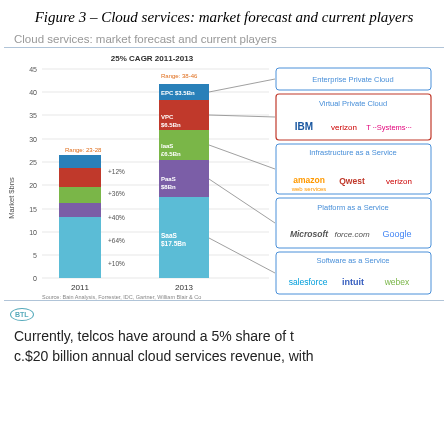Figure 3 – Cloud services: market forecast and current players
Cloud services: market forecast and current players
[Figure (stacked-bar-chart): Stacked bar chart showing cloud services market forecast for 2011 and 2013, with segments for SaaS, PaaS, IaaS, VPC, and Enterprise Private Cloud. Right side shows company logos for each segment.]
Currently, telcos have around a 5% share of t... c.$20 billion annual cloud services revenue, with